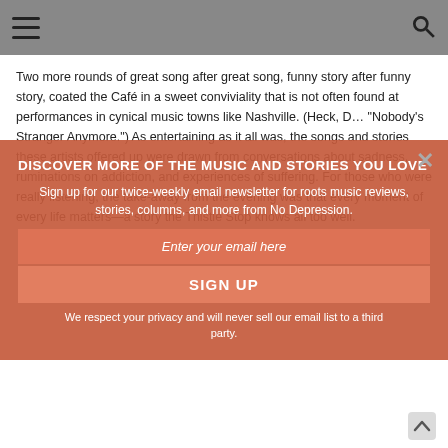Navigation menu and search icons
[Figure (photo): Dark warm-toned background photo of a musician, partially obscured by overlay modal]
DISCOVER MORE OF THE MUSIC AND STORIES YOU LOVE
Sign up for our twice-weekly email newsletter for roots music reviews, stories, columns, and more from No Depression.
Enter your email here
SIGN UP
We respect your privacy and will never sell our email list to a third party.
Two more rounds of great song after great song, funny story after funny story, coated the Café in a sweet conviviality that is not often found at performances in cynical music towns like Nashville. (Heck, D… “Nobody’s Stranger Anymore.”) As entertaining as it all was, the songs and stories these artists offered up were drawn from conversations about sadness, ruminations on addiction, and experiences of suffering. For those who were really listening, the take-away from the evening was that every moment of every life matters—a story the Thistle Stop knows all too well.